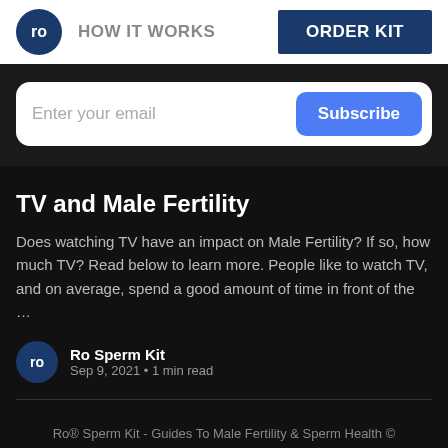ro  HOW IT WORKS  ORDER KIT
Enter your email  Subscribe
TV and Male Fertility
Does watching TV have an impact on Male Fertility? If so, how much TV? Read below to learn more. People like to watch TV, and on average, spend a good amount of time in front of the …
Ro Sperm Kit
Sep 9, 2021 • 1 min read
Ro® Sperm Kit - Guides To Male Fertility & Sperm Health ©